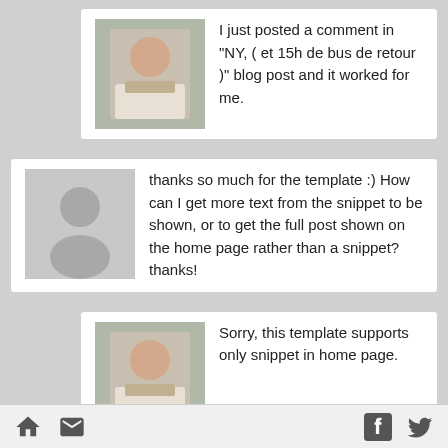I just posted a comment in "NY, ( et 15h de bus de retour )" blog post and it worked for me.
thanks so much for the template :) How can I get more text from the snippet to be shown, or to get the full post shown on the home page rather than a snippet? thanks!
Sorry, this template supports only snippet in home page.
Thanks for letting me know :) I just have one more question...